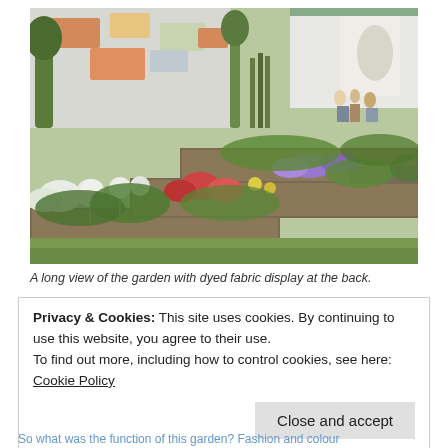[Figure (photo): A long view of a tiered raised-bed garden display with colorful flowers including alliums, red and white blooms, and purple flowers. In the background is a building wall with colorful geometric fabric panels and visitors browsing. The garden is set in an indoor/outdoor show environment.]
A long view of the garden with dyed fabric display at the back.
Privacy & Cookies: This site uses cookies. By continuing to use this website, you agree to their use.
To find out more, including how to control cookies, see here: Cookie Policy
Close and accept